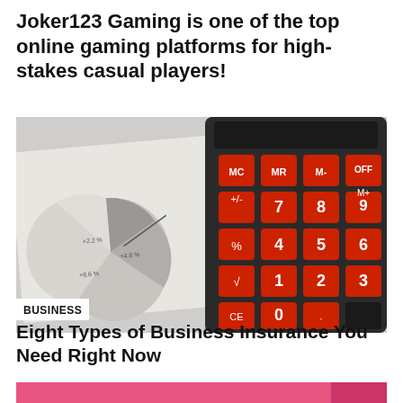Joker123 Gaming is one of the top online gaming platforms for high-stakes casual players!
[Figure (photo): A close-up photo of a red and black calculator sitting on top of financial documents with a pie chart visible in the background]
BUSINESS
Eight Types of Business Insurance You Need Right Now
[Figure (photo): Bottom portion of another article image showing a pink/magenta background with partial figure visible]